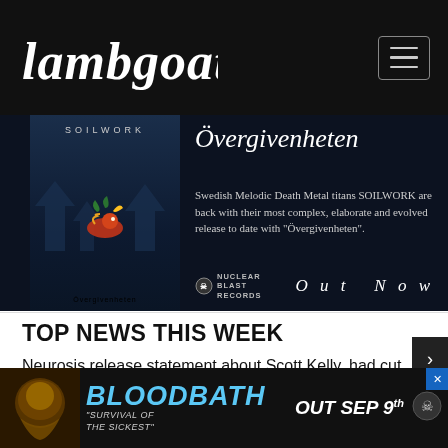Lambgoat
[Figure (photo): Advertisement for Soilwork album 'Övergivenheten' on Nuclear Blast Records. Dark themed banner with album art on left showing a bird illustration, and text on right reading: Swedish Melodic Death Metal titans SOILWORK are back with their most complex, elaborate and evolved release to date with 'Övergivenheten'. Out Now.]
TOP NEWS THIS WEEK
Neurosis release statement about Scott Kelly, had cut ties in 2019
Maylene And The Sons Of Disaster are, in fact, back
Hatebreed announce additional dates to "20 Years of Perseverance" tour
Furnace...
Fear Factory...
[Figure (photo): Advertisement for Bloodbath 'Survival of the Sickest' - Out Sep 9th. Blue text BLOODBATH on dark background with album artwork.]